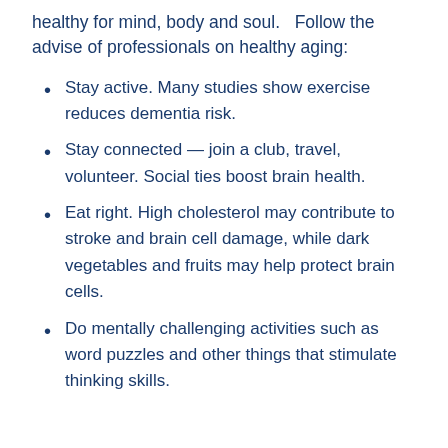healthy for mind, body and soul.   Follow the advise of professionals on healthy aging:
Stay active. Many studies show exercise reduces dementia risk.
Stay connected — join a club, travel, volunteer. Social ties boost brain health.
Eat right. High cholesterol may contribute to stroke and brain cell damage, while dark vegetables and fruits may help protect brain cells.
Do mentally challenging activities such as word puzzles and other things that stimulate thinking skills.